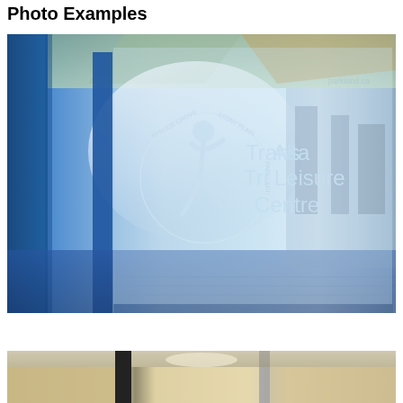Photo Examples
[Figure (photo): Interior photo of the TransAlta Tri Leisure Centre showing frosted glass panels with the centre's logo — a stylized running figure and circular text reading 'Spruce Grove · Stony Plain · Parkland' — along with the text 'TransAlta Tri Leisure Centre' etched on the glass. Blue structural columns visible on the left, gym equipment visible in the background through the glass.]
[Figure (photo): Partial view of a building interior or entrance area, showing ceiling lights and warm beige/tan walls with what appears to be a reception or lobby area.]